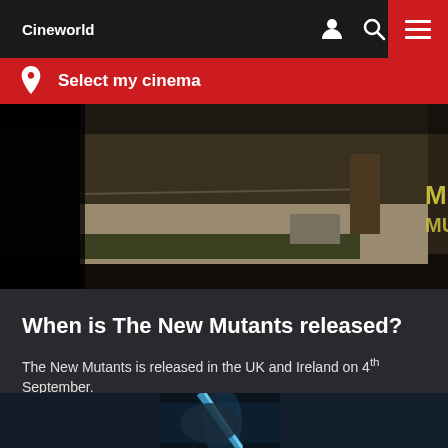Cineworld
Select my cinema
[Figure (screenshot): Dark moody outdoor scene from The New Mutants movie - appears to show a street or pathway in dim, foggy conditions with partial movie title text visible on the right edge]
When is The New Mutants released?
The New Mutants is released in the UK and Ireland on 4th September.
[Figure (screenshot): Dark blue-tinted movie scene from The New Mutants showing a glowing blue energy or power effect]